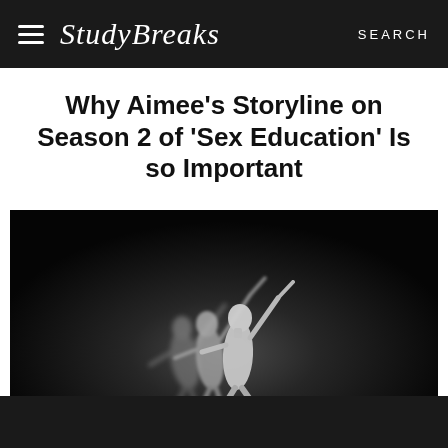Study Breaks — SEARCH
Why Aimee’s Storyline on Season 2 of ‘Sex Education’ Is so Important
[Figure (photo): Black and white photo of multiple dancers performing on stage, captured in motion blur showing arms and legs extended, dark background.]